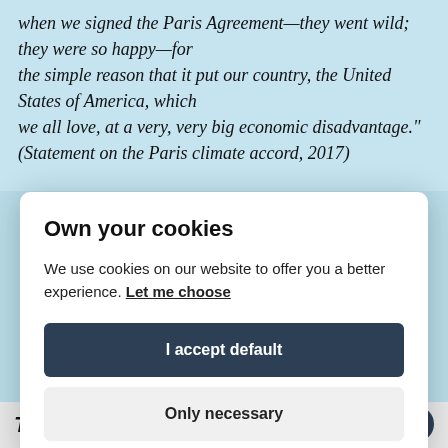when we signed the Paris Agreement—they went wild; they were so happy—for the simple reason that it put our country, the United States of America, which we all love, at a very, very big economic disadvantage." (Statement on the Paris climate accord, 2017)
Own your cookies
We use cookies on our website to offer you a better experience. Let me choose
I accept default
Only necessary
Tags